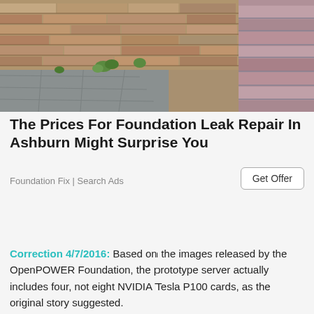[Figure (photo): Photograph of a stone/brick wall with layered stonework, a paved pathway with large stone tiles, and some green plants growing between the stones.]
The Prices For Foundation Leak Repair In Ashburn Might Surprise You
Foundation Fix | Search Ads
Get Offer
Correction 4/7/2016: Based on the images released by the OpenPOWER Foundation, the prototype server actually includes four, not eight NVIDIA Tesla P100 cards, as the original story suggested.